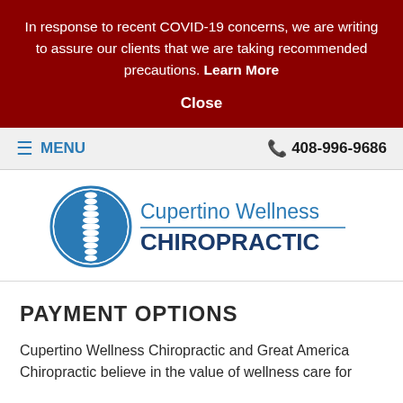In response to recent COVID-19 concerns, we are writing to assure our clients that we are taking recommended precautions. Learn More
Close
≡ MENU   📞 408-996-9686
[Figure (logo): Cupertino Wellness Chiropractic logo — blue spine/sphere graphic on left, text 'Cupertino Wellness CHIROPRACTIC' on right]
PAYMENT OPTIONS
Cupertino Wellness Chiropractic and Great America Chiropractic believe in the value of wellness care for